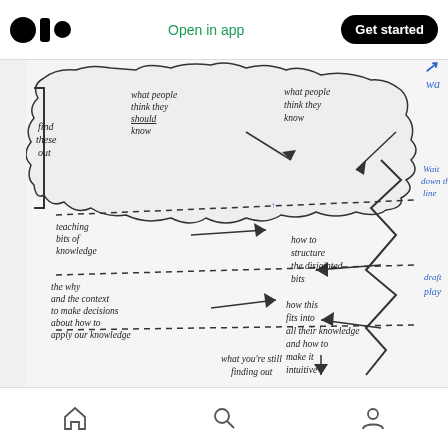Open in app | Get started
[Figure (illustration): Whiteboard diagram showing layers of knowledge: 'find these out' bracket on left pointing to 'what people think they should know', 'what people think they know', 'teaching bits of knowledge', 'how to structure the disjointed bits', 'the why and the context to make decisions about how to apply our knowledge', 'how this fits into all their knowledge and how to make it intuitive', 'what you're still finding out'. Layers shown as cloud-edged horizontal bands with dashed lines and arrows. Blue handwritten notes on right: 'wa', 'wait down the line', 'draft', 'play', 'e', 'o'.]
Home | Search | Profile